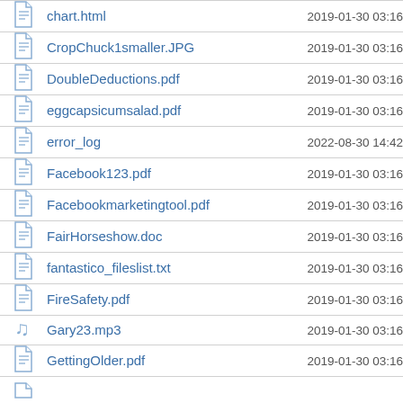| Icon | Name | Date |
| --- | --- | --- |
| file | chart.html | 2019-01-30 03:16 |
| file | CropChuck1smaller.JPG | 2019-01-30 03:16 |
| file | DoubleDeductions.pdf | 2019-01-30 03:16 |
| file | eggcapsicumsalad.pdf | 2019-01-30 03:16 |
| file | error_log | 2022-08-30 14:42 |
| file | Facebook123.pdf | 2019-01-30 03:16 |
| file | Facebookmarketingtool.pdf | 2019-01-30 03:16 |
| file | FairHorseshow.doc | 2019-01-30 03:16 |
| file | fantastico_fileslist.txt | 2019-01-30 03:16 |
| file | FireSafety.pdf | 2019-01-30 03:16 |
| audio | Gary23.mp3 | 2019-01-30 03:16 |
| file | GettingOlder.pdf | 2019-01-30 03:16 |